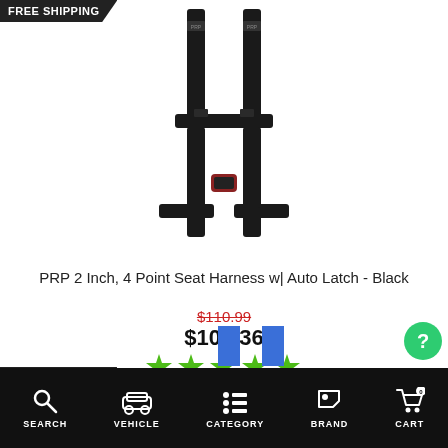[Figure (photo): PRP 2 Inch 4 Point Seat Harness with Auto Latch in Black - product photo showing black H-style racing harness]
PRP 2 Inch, 4 Point Seat Harness w| Auto Latch - Black
$110.99 (strikethrough original price)
$100.36
[Figure (other): 5-star rating display with green/yellow stars]
More Information
[Figure (other): Secure Browsing badge with shield icon dated 8/24/2022]
SEARCH   VEHICLE   CATEGORY   BRAND   CART